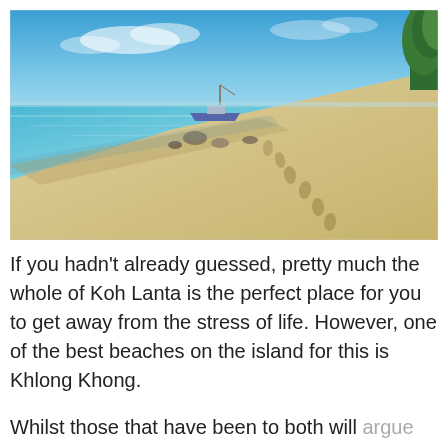[Figure (photo): A tropical beach scene with clear turquoise water on the left, a sandy beach on the right with footprints, rocks in the water, a boat in the background, blue sky with light clouds, and green trees visible at the far right.]
If you hadn't already guessed, pretty much the whole of Koh Lanta is the perfect place for you to get away from the stress of life. However, one of the best beaches on the island for this is Khlong Khong.
Whilst those that have been to both will argue between themselves, it's often deliberated about which is better: Khlong